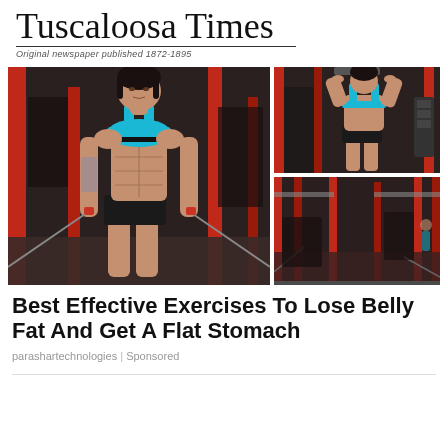Tuscaloosa Times
Original newspaper published 1872-1895
[Figure (photo): Collage of two gym photos: left large image shows a fit woman with tattoos in a blue sports bra and black shorts using cable machine showing defined abs; right top image shows same or similar woman from back/side using cable pull-down; right bottom shows wide gym interior with red equipment racks.]
Best Effective Exercises To Lose Belly Fat And Get A Flat Stomach
parashartechnologies | Sponsored